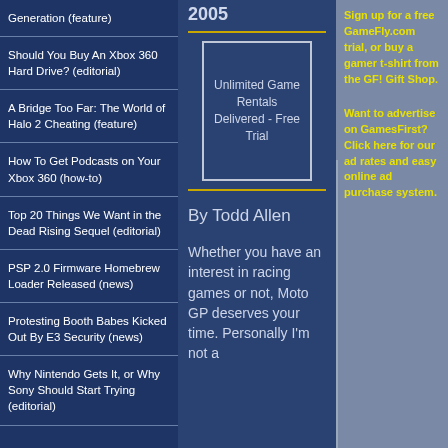Generation (feature)
Should You Buy An Xbox 360 Hard Drive? (editorial)
A Bridge Too Far: The World of Halo 2 Cheating (feature)
How To Get Podcasts on Your Xbox 360 (how-to)
Top 20 Things We Want in the Dead Rising Sequel (editorial)
PSP 2.0 Firmware Homebrew Loader Released (news)
Protesting Booth Babes Kicked Out By E3 Security (news)
Why Nintendo Gets It, or Why Sony Should Start Trying (editorial)
2005
[Figure (other): Unlimited Game Rentals Delivered - Free Trial advertisement image]
By Todd Allen
Whether you have an interest in racing games or not, Moto GP deserves your time. Personally I'm not a
Sign up for a free GameFly.com trial, or buy a gamer t-shirt from the GF! Gift Shop.

Want to advertise on GamesFirst? Click here for our ad rates and easy online ad purchase system.